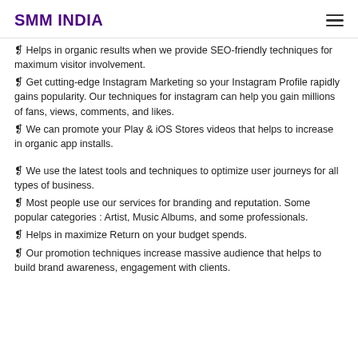SMM INDIA
❑ Helps in organic results when we provide SEO-friendly techniques for maximum visitor involvement.
❑ Get cutting-edge Instagram Marketing so your Instagram Profile rapidly gains popularity. Our techniques for instagram can help you gain millions of fans, views, comments, and likes.
❑ We can promote your Play & iOS Stores videos that helps to increase in organic app installs.
❑ We use the latest tools and techniques to optimize user journeys for all types of business.
❑ Most people use our services for branding and reputation. Some popular categories : Artist, Music Albums, and some professionals.
❑ Helps in maximize Return on your budget spends.
❑ Our promotion techniques increase massive audience that helps to build brand awareness, engagement with clients.